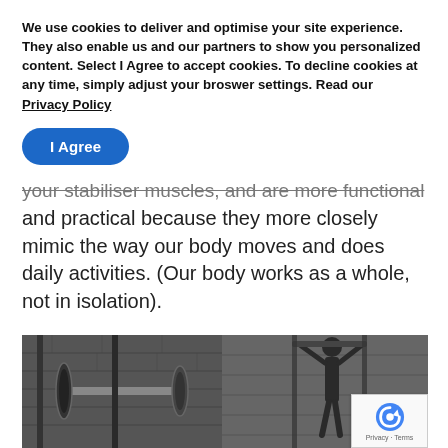We use cookies to deliver and optimise your site experience. They also enable us and our partners to show you personalized content. Select I Agree to accept cookies. To decline cookies at any time, simply adjust your broswer settings. Read our Privacy Policy
I Agree
your stabiliser muscles, and are more functional and practical because they more closely mimic the way our body moves and does daily activities. (Our body works as a whole, not in isolation).
[Figure (photo): Black and white photo of a gym with weightlifting equipment (barbells on rack on left) and a person doing pull-ups on the right side against a brick wall background.]